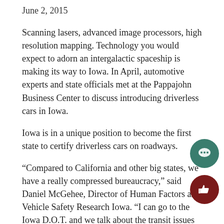June 2, 2015
Scanning lasers, advanced image processors, high resolution mapping. Technology you would expect to adorn an intergalactic spaceship is making its way to Iowa. In April, automotive experts and state officials met at the Pappajohn Business Center to discuss introducing driverless cars in Iowa.
Iowa is in a unique position to become the first state to certify driverless cars on roadways.
“Compared to California and other big states, we have a really compressed bureaucracy,” said Daniel McGehee, Director of Human Factors and Vehicle Safety Research Iowa. “I can go to the Iowa D.O.T. and we talk about the transit issues and make administrative decisions very quickly.”